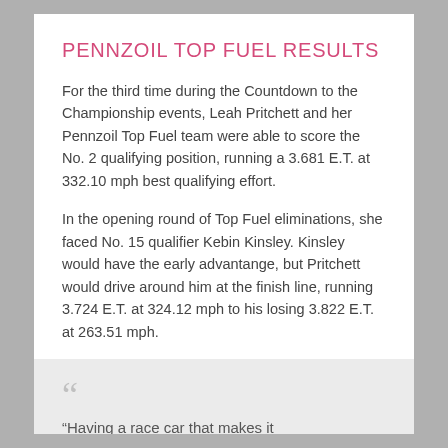PENNZOIL TOP FUEL RESULTS
For the third time during the Countdown to the Championship events, Leah Pritchett and her Pennzoil Top Fuel team were able to score the No. 2 qualifying position, running a 3.681 E.T. at 332.10 mph best qualifying effort.
In the opening round of Top Fuel eliminations, she faced No. 15 qualifier Kebin Kinsley. Kinsley would have the early advantange, but Pritchett would drive around him at the finish line, running 3.724 E.T. at 324.12 mph to his losing 3.822 E.T. at 263.51 mph.
“Having a race car that makes it